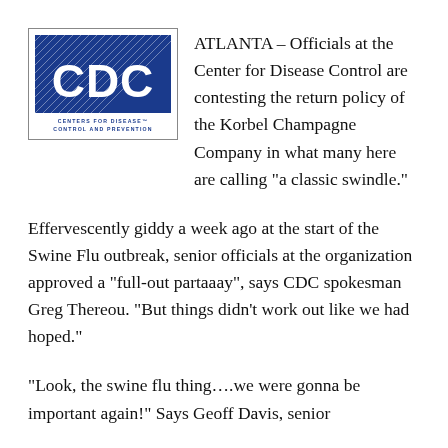[Figure (logo): CDC Centers for Disease Control and Prevention logo — blue square with white CDC letters and diagonal lines, text 'CENTERS FOR DISEASE CONTROL AND PREVENTION' below]
ATLANTA – Officials at the Center for Disease Control are contesting the return policy of the Korbel Champagne Company in what many here are calling “a classic swindle.”
Effervescently giddy a week ago at the start of the Swine Flu outbreak, senior officials at the organization approved a “full-out partaaay”, says CDC spokesman Greg Thereou.  “But things didn’t work out like we had hoped.”
“Look, the swine flu thing….we were gonna be important again!”  Says Geoff Davis, senior